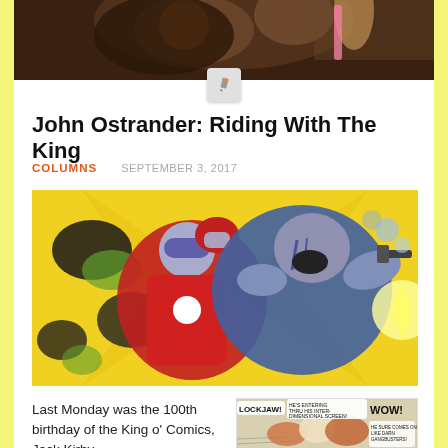[Figure (photo): Close-up photo of a person's face from above, appears to be illustrated or artistic]
John Ostrander: Riding With The King
COLUMNS   SEPTEMBER 3, 2017
[Figure (illustration): Comic book illustration showing two superhero characters fighting - one in red costume and one in blue, against a yellow background with dynamic action lines]
Last Monday was the 100th birthday of the King o' Comics, Jack Kirby.
[Figure (illustration): Second comic book panel showing characters with speech bubbles including 'LOCKJAW!', 'HE'S ENTERING THRU HIS INTER-DIMENSIONAL SCREEN!', 'WOW!', 'HE SURE COMES ON LIKE GANGBUSTERS!']